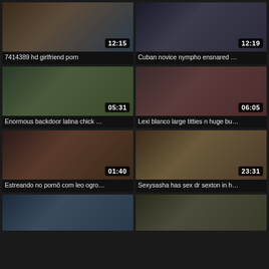[Figure (screenshot): Video thumbnail grid showing adult video website with 8 video thumbnails arranged in 2 columns. Each thumbnail shows a duration badge and video title below.]
7414389 hd girlfriend porn
Cuban novice nympho ensnared …
Enormous backdoor latina chick …
Lexi blanco large titties n huge bu…
Estreando no pornô com leo ogro…
Sexysasha has sex dr sexton in h…